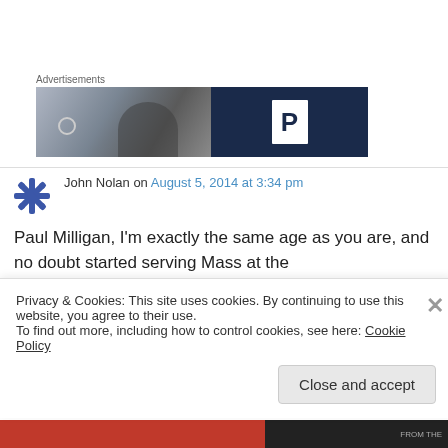Advertisements
[Figure (photo): Advertisement banner with a blurred portrait photo on the left and a dark navy blue panel with a large white 'P' letter on the right]
John Nolan on August 5, 2014 at 3:34 pm
Paul Milligan, I'm exactly the same age as you are, and no doubt started serving Mass at the
Privacy & Cookies: This site uses cookies. By continuing to use this website, you agree to their use.
To find out more, including how to control cookies, see here: Cookie Policy
Close and accept